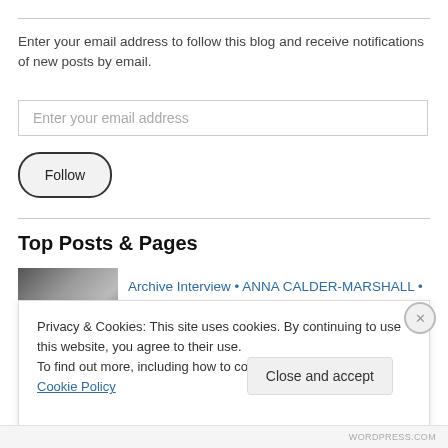Enter your email address to follow this blog and receive notifications of new posts by email.
Enter your email address
Follow
Top Posts & Pages
[Figure (photo): Black and white thumbnail photo of a person]
Archive Interview • ANNA CALDER-MARSHALL •
Privacy & Cookies: This site uses cookies. By continuing to use this website, you agree to their use.
To find out more, including how to control cookies, see here: Cookie Policy
Close and accept
WORDPRESS.COM